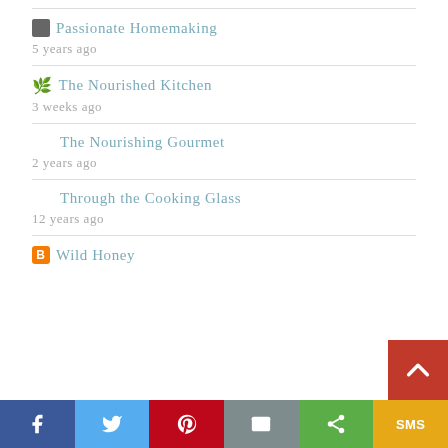Passionate Homemaking — 5 years ago
The Nourished Kitchen — 3 weeks ago
The Nourishing Gourmet — 2 years ago
Through the Cooking Glass — 12 years ago
Wild Honey